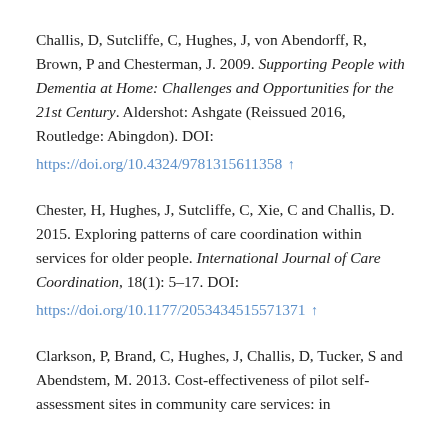Challis, D, Sutcliffe, C, Hughes, J, von Abendorff, R, Brown, P and Chesterman, J. 2009. Supporting People with Dementia at Home: Challenges and Opportunities for the 21st Century. Aldershot: Ashgate (Reissued 2016, Routledge: Abingdon). DOI: https://doi.org/10.4324/9781315611358 ↑
Chester, H, Hughes, J, Sutcliffe, C, Xie, C and Challis, D. 2015. Exploring patterns of care coordination within services for older people. International Journal of Care Coordination, 18(1): 5–17. DOI: https://doi.org/10.1177/2053434515571371 ↑
Clarkson, P, Brand, C, Hughes, J, Challis, D, Tucker, S and Abendstem, M. 2013. Cost-effectiveness of pilot self-assessment sites in community care services: in…